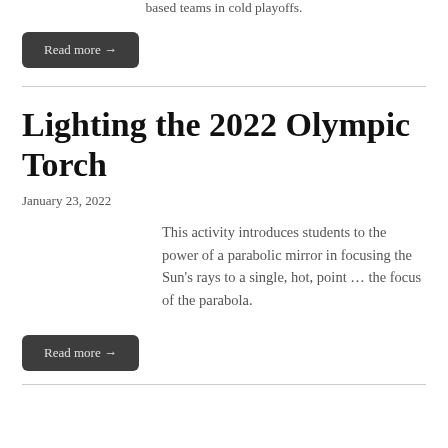based teams in cold playoffs.
Read more →
Lighting the 2022 Olympic Torch
January 23, 2022
This activity introduces students to the power of a parabolic mirror in focusing the Sun's rays to a single, hot, point … the focus of the parabola.
Read more →